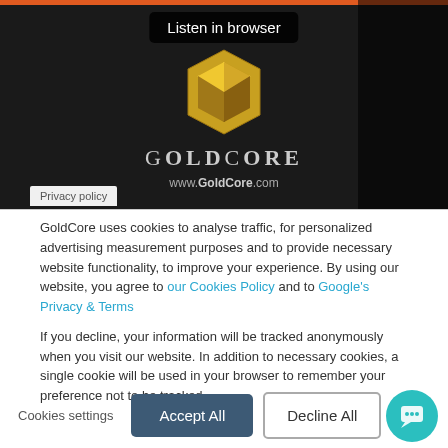[Figure (screenshot): GoldCore website screenshot showing logo with gold hexagon, GOLDCORE text, www.GoldCore.com URL, and a 'Listen in browser' badge on dark background]
Privacy policy
GoldCore uses cookies to analyse traffic, for personalized advertising measurement purposes and to provide necessary website functionality, to improve your experience. By using our website, you agree to our Cookies Policy and to Google's Privacy & Terms
If you decline, your information will be tracked anonymously when you visit our website. In addition to necessary cookies, a single cookie will be used in your browser to remember your preference not to be tracked.
Cookies settings    Accept All    Decline All